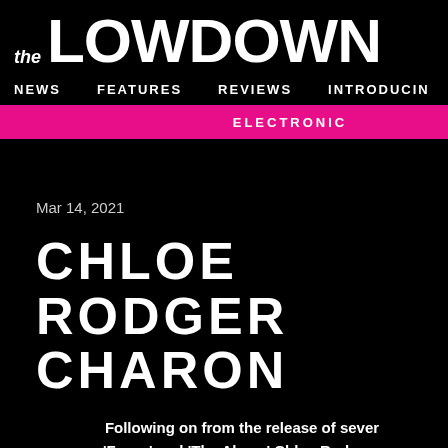the LOWDOWN
NEWS   FEATURES   REVIEWS   INTRODUCING
ELECTRONIC
Mar 14, 2021
CHLOE RODGERS CHARON
Following on from the release of sever 'Faces' and 'The Algea,' Chloe Rodgers titled 'C